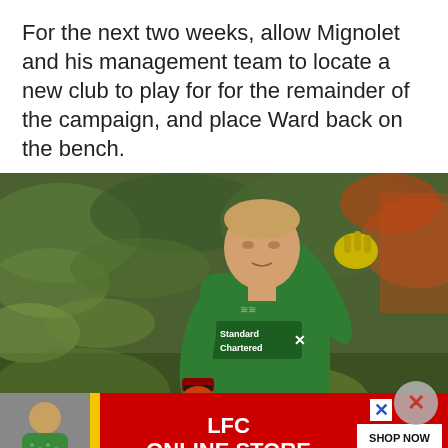For the next two weeks, allow Mignolet and his management team to locate a new club to play for for the remainder of the campaign, and place Ward back on the bench.
[Figure (photo): A Liverpool FC goalkeeper wearing a green 'Standard Chartered' jersey, raising his gloved hand on a football pitch with a blurred crowd in the background.]
[Figure (infographic): LFC Online Store advertisement banner in red with a yellow accent bar, showing a person in a green jacket on the left, 'LFC ONLINE STORE' text in the center, and a 'SHOP NOW' button.]